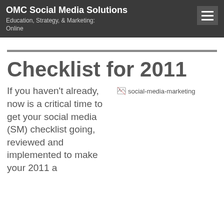OMC Social Media Solutions
Education, Strategy, & Marketing: Online
Checklist for 2011
If you haven't already, now is a critical time to get your social media (SM) checklist going, reviewed and implemented to make your 2011 a
[Figure (photo): social-media-marketing image (broken/loading placeholder)]